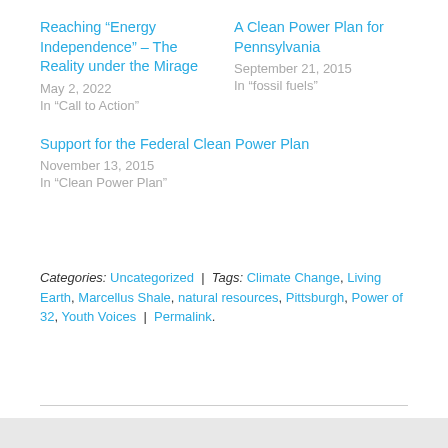Reaching “Energy Independence” – The Reality under the Mirage
May 2, 2022
In "Call to Action"
A Clean Power Plan for Pennsylvania
September 21, 2015
In "fossil fuels"
Support for the Federal Clean Power Plan
November 13, 2015
In "Clean Power Plan"
Categories: Uncategorized | Tags: Climate Change, Living Earth, Marcellus Shale, natural resources, Pittsburgh, Power of 32, Youth Voices | Permalink.